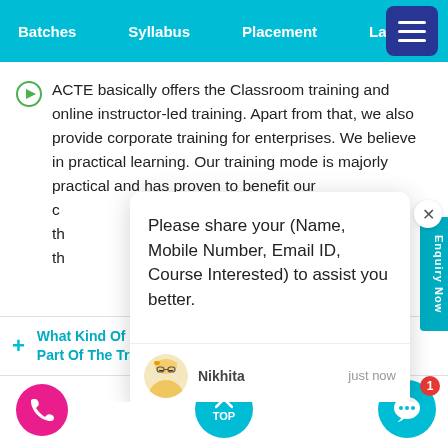Batches   Syllabus   Placement   La
ACTE basically offers the Classroom training and online instructor-led training. Apart from that, we also provide corporate training for enterprises. We believe in practical learning. Our training mode is majorly practical and has proven to benefit our c... th... th... th...
Please share your (Name, Mobile Number, Email ID, Course Interested) to assist you better.
Nikhita   just now
Enquiry Now
+ What Kind Of Projects Will I Be Working On Part Of The Training
TOP